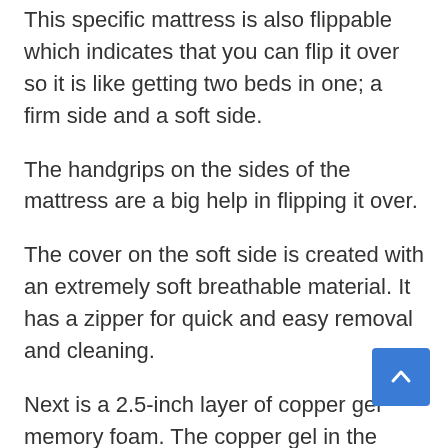This specific mattress is also flippable which indicates that you can flip it over so it is like getting two beds in one; a firm side and a soft side.
The handgrips on the sides of the mattress are a big help in flipping it over.
The cover on the soft side is created with an extremely soft breathable material. It has a zipper for quick and easy removal and cleaning.
Next is a 2.5-inch layer of copper gel memory foam. The copper gel in the foam responds to increased pressure with a firming reaction so it remains soft and comfy overall but also offers firmness around deep compression areas where it is required the most.